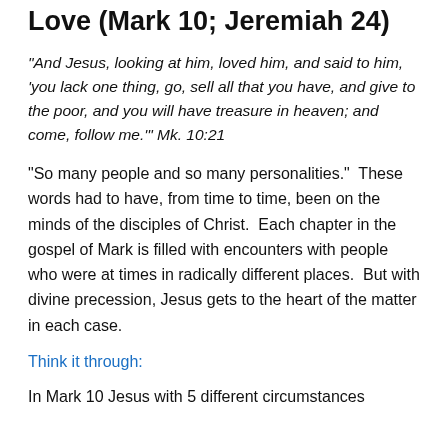Love (Mark 10; Jeremiah 24)
“And Jesus, looking at him, loved him, and said to him, ‘you lack one thing, go, sell all that you have, and give to the poor, and you will have treasure in heaven; and come, follow me.’” Mk. 10:21
“So many people and so many personalities.”  These words had to have, from time to time, been on the minds of the disciples of Christ.  Each chapter in the gospel of Mark is filled with encounters with people who were at times in radically different places.  But with divine precession, Jesus gets to the heart of the matter in each case.
Think it through:
In Mark 10 Jesus with 5 different circumstances